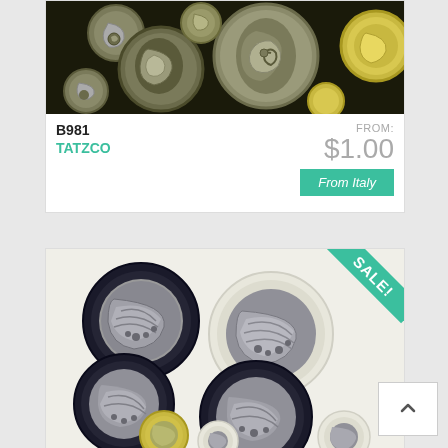[Figure (photo): Close-up photo of decorative gold/silver metallic buttons with swirl and leaf patterns arranged on dark background]
B981
TATZCO
FROM:
$1.00
From Italy
[Figure (photo): Photo of decorative buttons with textured silver centers and dark/ivory/gold rimmed borders arranged on white background, with SALE! ribbon in top right corner]